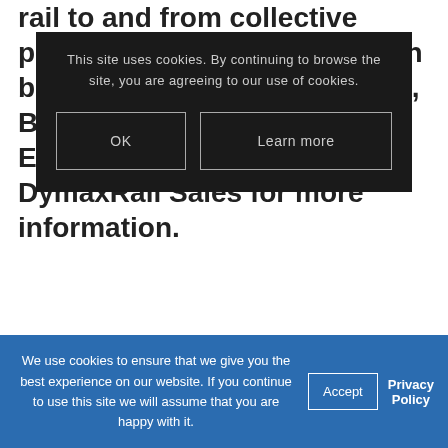rail to and from collective piles. The Rail Handler SG can be adapted to Grapple Trucks, Backhoe Loaders and Excavators. Contact DymaxRail Sales for more information.
[Figure (screenshot): Dark modal cookie consent dialog with message 'This site uses cookies. By continuing to browse the site, you are agreeing to our use of cookies.' and two buttons: OK and Learn more]
[Figure (screenshot): Blue cookie consent bar at bottom of page with text 'We use cookies to ensure that we give you the best experience on our website. If you continue to use this site we will assume that you are happy with it.' and Accept button and Privacy Policy link]